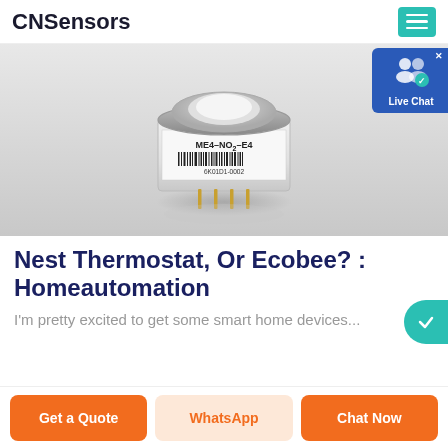CNSensors
[Figure (photo): ME4-NO2-E4 electrochemical gas sensor — cylindrical white sensor with metal top cap, barcode label reading ME4-NO2-E4 and serial 6K01D1-0002, with gold pin connectors at bottom, on white background]
[Figure (infographic): Live Chat widget — blue rounded rectangle with white user-group icon and checkmark, labeled 'Live Chat', with X close button in top right]
Nest Thermostat, Or Ecobee? : Homeautomation
I'm pretty excited to get some smart home devices...